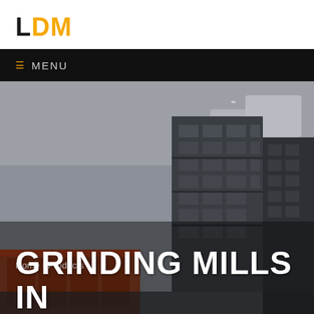LDM
☰ MENU
[Figure (photo): Low-angle view of a dark modern high-rise building against a grey overcast sky]
Home > Products >
GRINDING MILLS IN